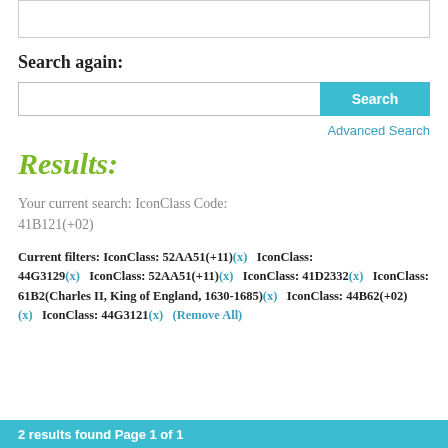[Figure (screenshot): Top input box / search widget area (partial, top of page)]
Search again:
[Figure (screenshot): Search input bar with Search button]
Advanced Search
Results:
Your current search: IconClass Code: 41B121(+02)
Current filters: IconClass: 52AA51(+11)(x)   IconClass: 44G3129(x)   IconClass: 52AA51(+11)(x)   IconClass: 41D2332(x)   IconClass: 61B2(Charles II, King of England, 1630-1685)(x)   IconClass: 44B62(+02)(x)   IconClass: 44G3121(x)   (Remove All)
2 results found Page 1 of 1